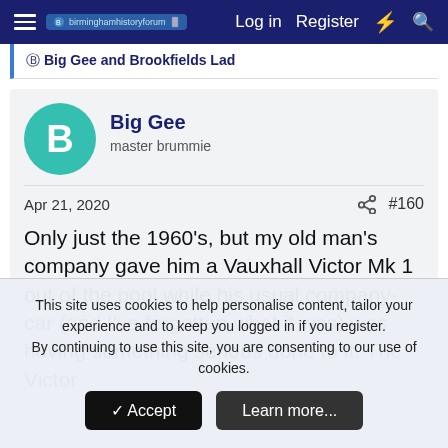Log in  Register
Big Gee and Brookfields Lad
Big Gee
master brummie
Apr 21, 2020  #160
Only just the 1960's, but my old man's company gave him a Vauxhall Victor Mk 1 out of the pool while his usual company-car (and I've forgotten what it was) was having something serious done to it. The Victor
This site uses cookies to help personalise content, tailor your experience and to keep you logged in if you register.
By continuing to use this site, you are consenting to our use of cookies.